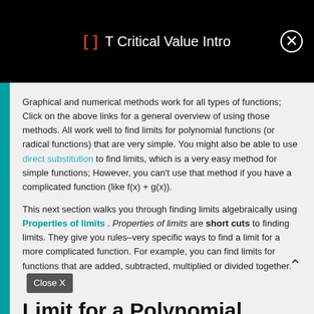[ ]  T Critical Value Intro
Graphical and numerical methods work for all types of functions; Click on the above links for a general overview of using those methods. All work well to find limits for polynomial functions (or radical functions) that are very simple. You might also be able to use direct substitution to find limits, which is a very easy method for simple functions; However, you can't use that method if you have a complicated function (like f(x) + g(x)).
This next section walks you through finding limits algebraically using Properties of limits. Properties of limits are short cuts to finding limits. They give you rules–very specific ways to find a limit for a more complicated function. For example, you can find limits for functions that are added, subtracted, multiplied or divided together. Close X
Limit for a Polynomial Function